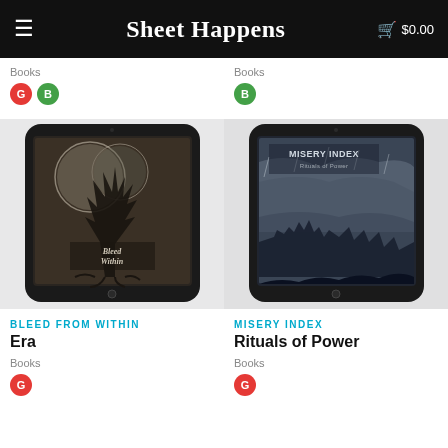Sheet Happens · $0.00
Books
G B
Books
B
[Figure (illustration): Tablet/iPad mockup showing Bleed From Within Era album artwork — dark gothic tree and moon imagery]
[Figure (illustration): Tablet/iPad mockup showing Misery Index Rituals of Power album artwork — blizzard battle scene]
BLEED FROM WITHIN
Era
Books
G
MISERY INDEX
Rituals of Power
Books
G